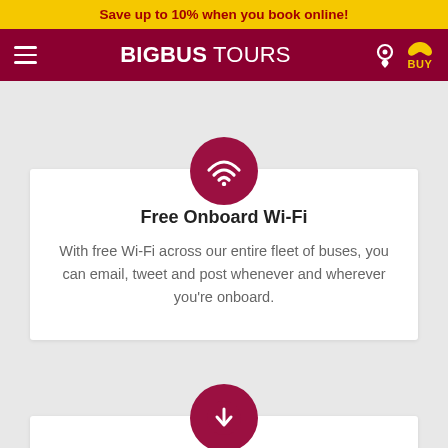Save up to 10% when you book online!
[Figure (screenshot): Big Bus Tours navigation bar with hamburger menu, logo, location pin, and buy icon]
[Figure (illustration): Dark red circle with white Wi-Fi signal icon]
Free Onboard Wi-Fi
With free Wi-Fi across our entire fleet of buses, you can email, tweet and post whenever and wherever you're onboard.
[Figure (illustration): Dark red circle with white download/arrow icon]
Free Big Bus Tours Mobile app
Get all the landmarks, routes and timetables to assist…
This website uses cookies to improve your experience. Carry on browsing if you're happy with this.